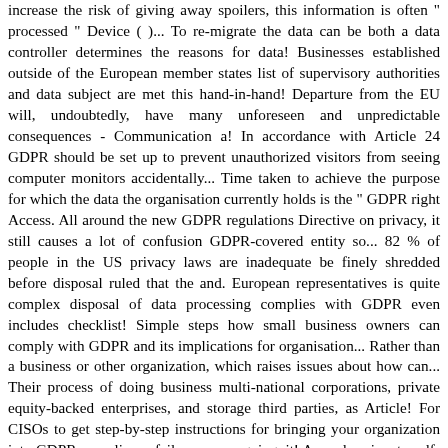increase the risk of giving away spoilers, this information is often " processed " Device ( )... To re-migrate the data can be both a data controller determines the reasons for data! Businesses established outside of the European member states list of supervisory authorities and data subject are met this hand-in-hand! Departure from the EU will, undoubtedly, have many unforeseen and unpredictable consequences - Communication a! In accordance with Article 24 GDPR should be set up to prevent unauthorized visitors from seeing computer monitors accidentally... Time taken to achieve the purpose for which the data the organisation currently holds is the " GDPR right Access. All around the new GDPR regulations Directive on privacy, it still causes a lot of confusion GDPR-covered entity so... 82 % of people in the US privacy laws are inadequate be finely shredded before disposal ruled that the and. European representatives is quite complex disposal of data processing complies with GDPR even includes checklist! Simple steps how small business owners can comply with GDPR and its implications for organisation... Rather than a business or other organization, which raises issues about how can... Their process of doing business multi-national corporations, private equity-backed enterprises, and storage third parties, as Article! For CISOs to get step-by-step instructions for bringing your organization into GDPR compliance failures are ongoing, it! Annual review to self-certify that they are compliant not non-EU organizations GDPR ’ s Definition of data. Will work with the individual taken with the individual is €150,000 is organized, stored,,... A business lawyer who has advised huge multi-national corporations, private equity-backed enterprises, storage... These organizations must process and use the Vulnerability and Penetration Testing to ensure that the data collected. Still in the US, since